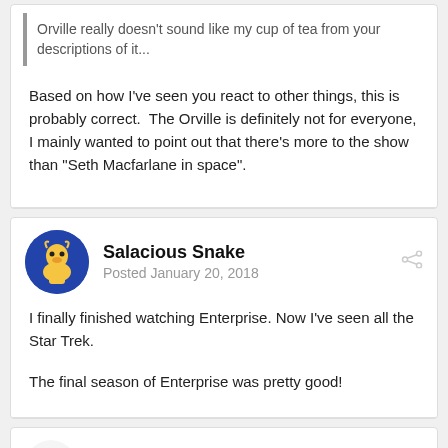Orville really doesn't sound like my cup of tea from your descriptions of it...
Based on how I've seen you react to other things, this is probably correct. The Orville is definitely not for everyone, I mainly wanted to point out that there's more to the show than "Seth Macfarlane in space".
Salacious Snake
Posted January 20, 2018
I finally finished watching Enterprise. Now I've seen all the Star Trek.
The final season of Enterprise was pretty good!
dartmonkey
Posted February 12, 2018
Just watched the final episode of Discovery Season 1! It started slow,